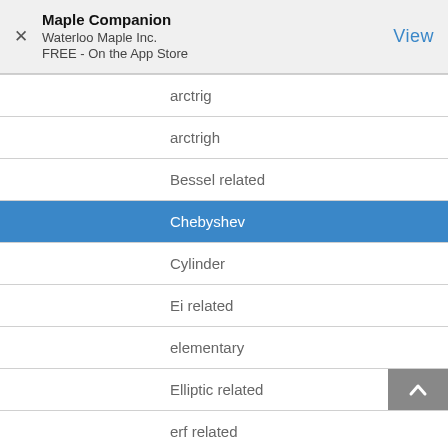Maple Companion
Waterloo Maple Inc.
FREE - On the App Store
arctrig
arctrigh
Bessel related
Chebyshev
Cylinder
Ei related
elementary
Elliptic related
erf related